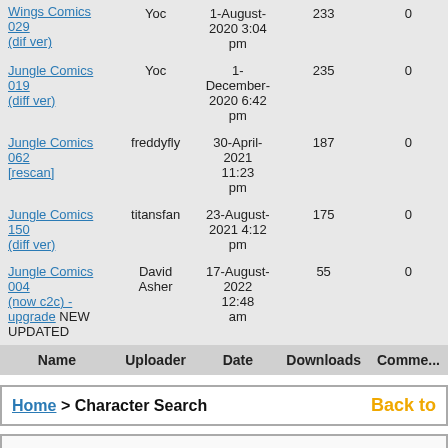| Name | Uploader | Date | Downloads | Comme... |
| --- | --- | --- | --- | --- |
| Wings Comics 029 (dif ver) | Yoc | 1-August-2020 3:04 pm | 233 | 0 |
| Jungle Comics 019 (diff ver) | Yoc | 1-December-2020 6:42 pm | 235 | 0 |
| Jungle Comics 062 [rescan] | freddyfly | 30-April-2021 11:23 pm | 187 | 0 |
| Jungle Comics 150 (diff ver) | titansfan | 23-August-2021 4:12 pm | 175 | 0 |
| Jungle Comics 004 (now c2c) - upgrade NEW UPDATED | David Asher | 17-August-2022 12:48 am | 55 | 0 |
Home > Character Search   Back to
contact us
Copyright 2022 digitalcomicmuseum.com